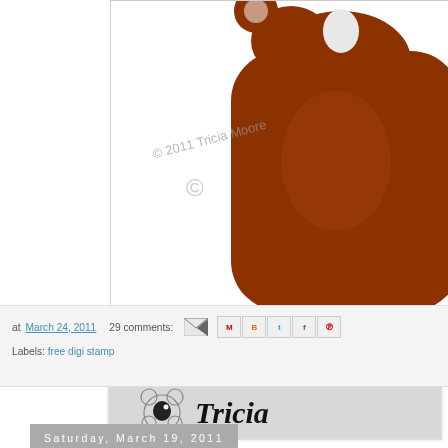[Figure (illustration): Partial view of a brown cartoon bear with copyright watermark '© 2011 Tricia Moore', showing the bear's torso/body against white background. Image is cropped at top.]
[Figure (illustration): Signature image showing a cartoon bear face outline with 'Tricia' written in cursive script next to it, on a light gray background.]
at March 24, 2011   29 comments:
Labels: free digi stamp
Saturday, March 19, 2011